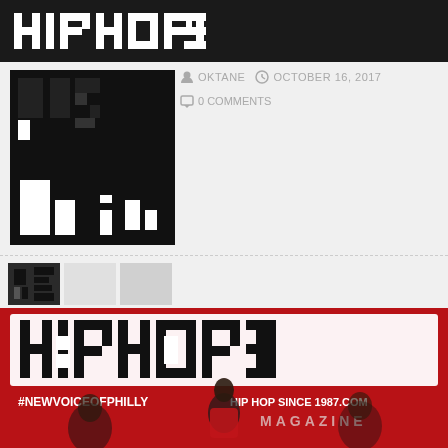HIPHOP3
OKTANE   OCTOBER 16, 2017   0 COMMENTS
[Figure (photo): Black and white HipHop3 logo image used as article thumbnail]
[Figure (photo): Three small thumbnail images in a strip]
[Figure (photo): HipHop3 Magazine cover featuring a man in a red jacket, with text #NEWVOICEOFPHILLY, HIP HOP SINCE 1987.COM, and MAGAZINE]